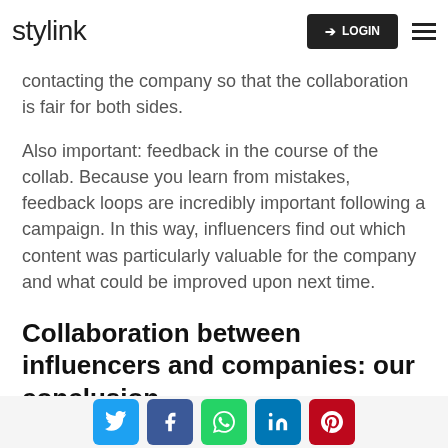stylink | LOGIN
contacting the company so that the collaboration is fair for both sides.
Also important: feedback in the course of the collab. Because you learn from mistakes, feedback loops are incredibly important following a campaign. In this way, influencers find out which content was particularly valuable for the company and what could be improved upon next time.
Collaboration between influencers and companies: our conclusion
We have now looked at both sides of collaboration
Social share buttons: Twitter, Facebook, WhatsApp, LinkedIn, Pinterest